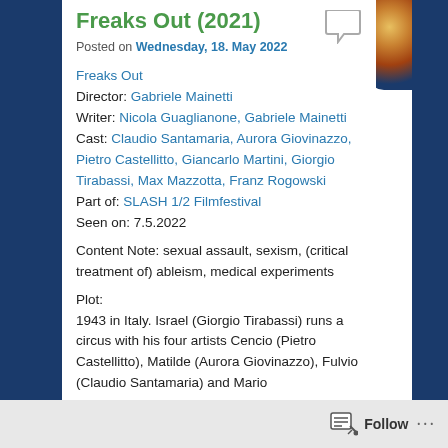Freaks Out (2021)
Posted on Wednesday, 18. May 2022
Freaks Out
Director: Gabriele Mainetti
Writer: Nicola Guaglianone, Gabriele Mainetti
Cast: Claudio Santamaria, Aurora Giovinazzo, Pietro Castellitto, Giancarlo Martini, Giorgio Tirabassi, Max Mazzotta, Franz Rogowski
Part of: SLASH 1/2 Filmfestival
Seen on: 7.5.2022
Content Note: sexual assault, sexism, (critical treatment of) ableism, medical experiments
Plot:
1943 in Italy. Israel (Giorgio Tirabassi) runs a circus with his four artists Cencio (Pietro Castellitto), Matilde (Aurora Giovinazzo), Fulvio (Claudio Santamaria) and Mario